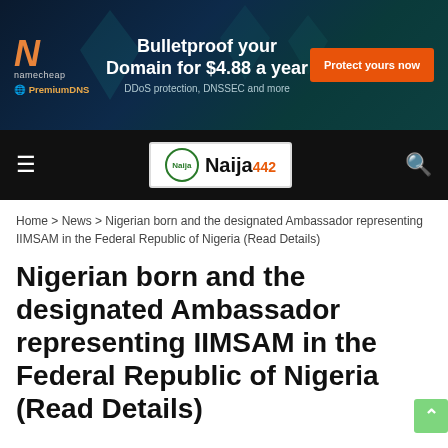[Figure (other): Namecheap PremiumDNS advertisement banner: 'Bulletproof your Domain for $4.88 a year — DDoS protection, DNSSEC and more' with orange 'Protect yours now' button]
Naija442 navigation bar with hamburger menu, Naija442 logo, and search icon
Home > News > Nigerian born and the designated Ambassador representing IIMSAM in the Federal Republic of Nigeria (Read Details)
Nigerian born and the designated Ambassador representing IIMSAM in the Federal Republic of Nigeria (Read Details)